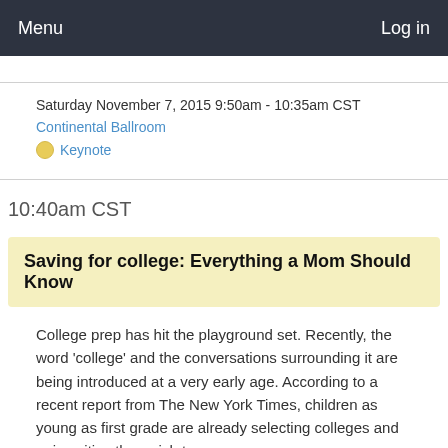Menu   Log in
Saturday November 7, 2015 9:50am - 10:35am CST
Continental Ballroom
Keynote
10:40am CST
Saving for college: Everything a Mom Should Know
College prep has hit the playground set. Recently, the word 'college' and the conversations surrounding it are being introduced at a very early age. According to a recent report from The New York Times, children as young as first grade are already selecting colleges and universities they wish to